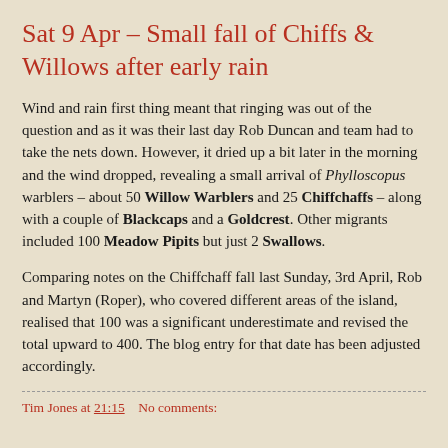Sat 9 Apr – Small fall of Chiffs & Willows after early rain
Wind and rain first thing meant that ringing was out of the question and as it was their last day Rob Duncan and team had to take the nets down. However, it dried up a bit later in the morning and the wind dropped, revealing a small arrival of Phylloscopus warblers – about 50 Willow Warblers and 25 Chiffchaffs – along with a couple of Blackcaps and a Goldcrest. Other migrants included 100 Meadow Pipits but just 2 Swallows.
Comparing notes on the Chiffchaff fall last Sunday, 3rd April, Rob and Martyn (Roper), who covered different areas of the island, realised that 100 was a significant underestimate and revised the total upward to 400. The blog entry for that date has been adjusted accordingly.
Tim Jones at 21:15    No comments: